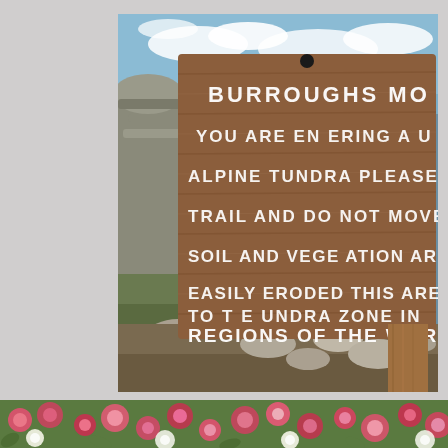[Figure (photo): Photograph of a wooden sign at Burroughs Mountain reading: BURROUGHS MO[UNTAIN], YOU ARE ENTERING A U[NIQUE], ALPINE TUNDRA PLEASE [STAY ON], TRAIL AND DO NOT MOVE [ROCKS], SOIL AND VEGETATION ARE[A], EASILY ERODED THIS AREA[IS SIMILAR], TO THE TUNDRA ZONE IN [ARCTIC], REGIONS OF THE WORLD. Rocky alpine terrain and blue sky with clouds visible behind the sign.]
[Figure (photo): Partial bottom strip of photo showing colorful flowers (pink/red blooms) in a garden or natural setting.]